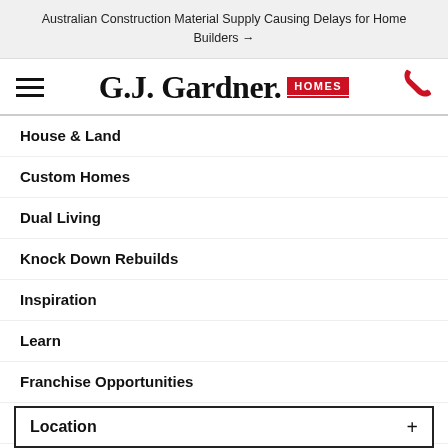Australian Construction Material Supply Causing Delays for Home Builders →
[Figure (logo): G.J. Gardner Homes logo with hamburger menu and phone icon]
House & Land
Custom Homes
Dual Living
Knock Down Rebuilds
Inspiration
Learn
Franchise Opportunities
Careers
Contact Us
About Us
Location